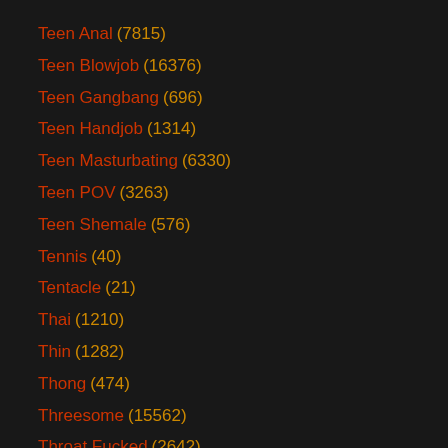Teen Anal (7815)
Teen Blowjob (16376)
Teen Gangbang (696)
Teen Handjob (1314)
Teen Masturbating (6330)
Teen POV (3263)
Teen Shemale (576)
Tennis (40)
Tentacle (21)
Thai (1210)
Thin (1282)
Thong (474)
Threesome (15562)
Throat Fucked (2642)
Tickling (107)